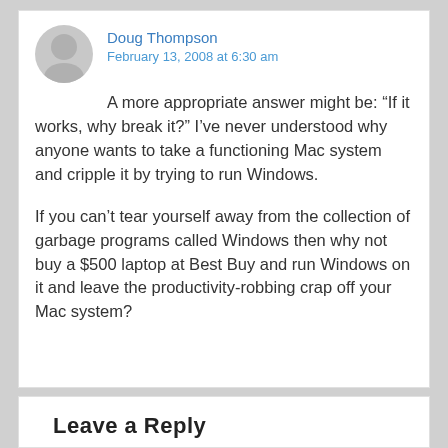Doug Thompson
February 13, 2008 at 6:30 am
A more appropriate answer might be: “If it works, why break it?” I’ve never understood why anyone wants to take a functioning Mac system and cripple it by trying to run Windows.
If you can’t tear yourself away from the collection of garbage programs called Windows then why not buy a $500 laptop at Best Buy and run Windows on it and leave the productivity-robbing crap off your Mac system?
Leave a Reply